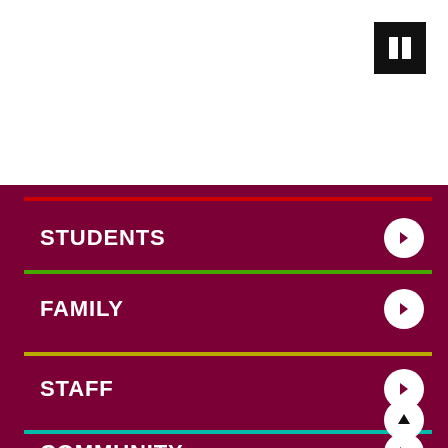[Figure (screenshot): White top section with a black pause/columns button in the upper right corner]
STUDENTS
FAMILY
STAFF
COMMUNITY